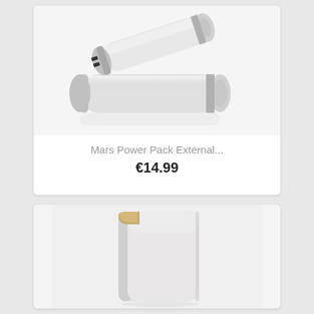[Figure (photo): Two silver cylindrical external battery/power bank devices with chrome accents and USB ports, displayed on a white background with subtle reflection]
Mars Power Pack External...
€14.99
[Figure (photo): A slim rectangular silver/white power bank with a gold metallic corner accent, shown at an angle on a light background]